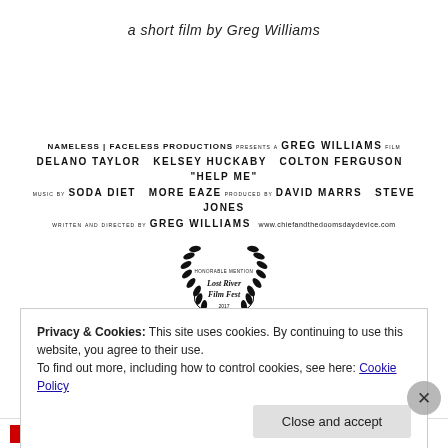a short film by Greg Williams
NAMELESS | FACELESS PRODUCTIONS PRESENTS A GREG WILLIAMS FILM DELANO TAYLOR  KELSEY HUCKABY  COLTON FERGUSON  "HELP ME" MUSIC BY SODA DIET  MORE EAZE PRODUCED BY DAVID MARRS  STEVE JONES WRITTEN AND DIRECTED BY GREG WILLIAMS  WWW.CHIEFANDTHEDOOMSDAYDEVICE.COM
[Figure (illustration): Laurel wreath badge with text 'HONORABLE MENTION Lost River Film Fest 2017']
Privacy & Cookies: This site uses cookies. By continuing to use this website, you agree to their use. To find out more, including how to control cookies, see here: Cookie Policy
Close and accept